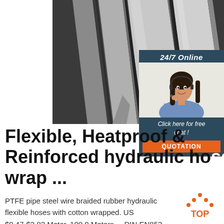[Figure (photo): Stainless steel flat bars/hydraulic hose wrap strips arranged diagonally on dark background]
[Figure (infographic): 24/7 Online customer service overlay with woman wearing headset, 'Click here for free chat!' text, and orange QUOTATION button]
Flexible, Heatproof & Reinforced hydraulic hose wrap ...
PTFE pipe steel wire braided rubber hydraulic flexible hoses with cotton wrapped. US $0.47-$2.82 Meter. 100.0 Meters ... DIN EN853
[Figure (logo): TOP logo: orange triangle/chevron dots above orange text 'TOP']